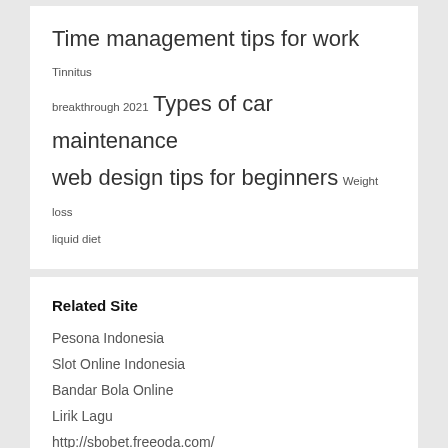Time management tips for work Tinnitus breakthrough 2021 Types of car maintenance web design tips for beginners Weight loss liquid diet
Related Site
Pesona Indonesia
Slot Online Indonesia
Bandar Bola Online
Lirik Lagu
http://sbobet.freeoda.com/
Agen Judi Bola
sbowin
tanamanhidroponik.org
Nongkrong enak